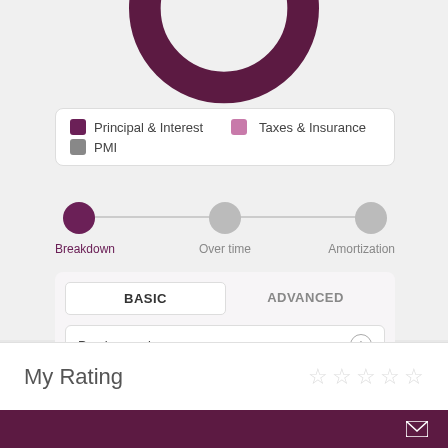[Figure (donut-chart): Partial donut/pie chart showing mortgage breakdown. Only the bottom portion is visible. Dark purple segment visible at top.]
[Figure (infographic): Legend box with three items: Principal & Interest (dark purple swatch), Taxes & Insurance (light purple/mauve swatch), PMI (gray swatch)]
[Figure (infographic): Three-step progress indicator with dots connected by a line. Steps: Breakdown (active, dark purple), Over time (inactive, gray), Amortization (inactive, gray)]
[Figure (screenshot): Mortgage calculator panel with BASIC and ADVANCED tabs. BASIC tab selected. Field shows 'Purchase price' with info icon and input showing $ 599,000]
My Rating
Email icon footer bar